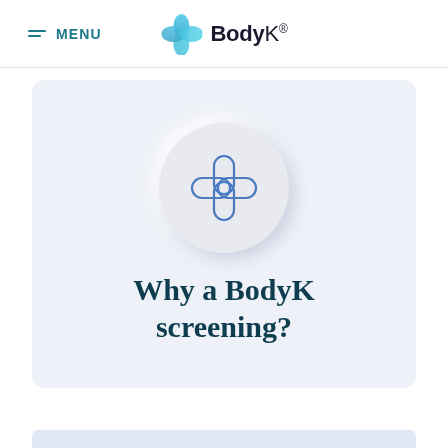MENU | BodyK.
[Figure (logo): BodyK logo with teal cross/plus icon and text 'BodyK.' in dark color]
[Figure (illustration): Circular neumorphic button with a blue outlined cross/leaf/clover icon representing the BodyK brand symbol]
Why a BodyK screening?